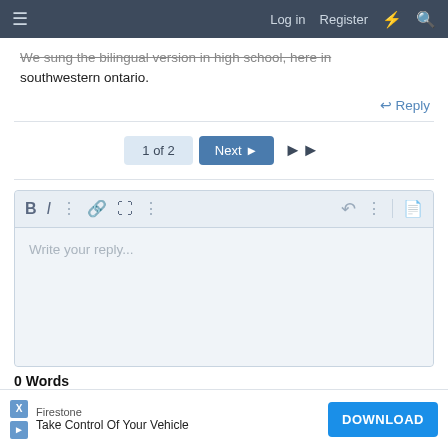≡  Log in  Register  ⚡  🔍
We sung the bilingual version in high school, here in southwestern ontario.
↩ Reply
1 of 2  Next ▶  ▶▶
[Figure (screenshot): Text editor toolbar with bold (B), italic (I), more options (:), link, image, more (:), undo, more (:) buttons, and a document icon on the right]
Write your reply...
0 Words
↩ Post reply
Firestone
Take Control Of Your Vehicle
DOWNLOAD